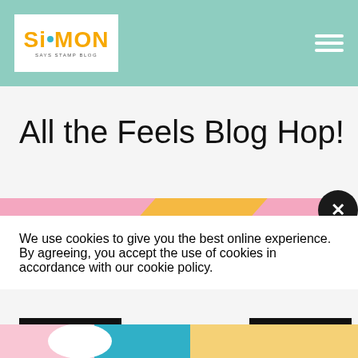Simon Says Stamp Blog - navigation header with logo and hamburger menu
All the Feels Blog Hop!
We use cookies to give you the best online experience. By agreeing, you accept the use of cookies in accordance with our cookie policy.
DECLINE
I ACCEPT
Privacy Policy  Cookie Policy